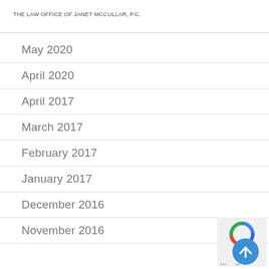THE LAW OFFICE OF JANET MCCULLAR, P.C.
May 2020
April 2020
April 2017
March 2017
February 2017
January 2017
December 2016
November 2016